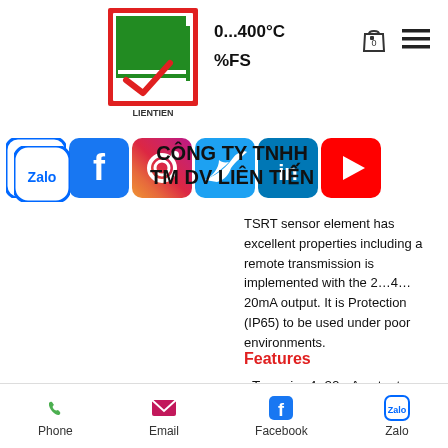[Figure (logo): LIEN TIEN company logo — red border square with green rectangle and red chevron/checkmark, text LIENTIEN below]
0...400°C
%FS
[Figure (infographic): Social media icons row: Zalo, Facebook, Instagram, Twitter, LinkedIn, YouTube]
CÔNG TY TNHH
TM DV LIÊN TIẾN
TSRT sensor element has excellent properties including a remote transmission is implemented with the 2…4…20mA output. It is Protection (IP65) to be used under poor environments.
Features
- Two wire 4~20mA output
- Measuring range -50~400°C
- 0.5%FS accuracy
- Stainless steel(316L) media-wetted materials
Phone    Email    Facebook    Zalo